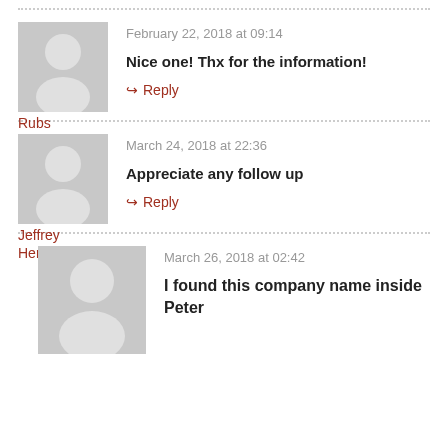[Figure (illustration): Gray placeholder avatar icon for user Rubs]
February 22, 2018 at 09:14
Nice one! Thx for the information!
Rubs
↳ Reply
[Figure (illustration): Gray placeholder avatar icon for user Jeffrey Herrberg]
March 24, 2018 at 22:36
Appreciate any follow up
Jeffrey Herrberg
↳ Reply
[Figure (illustration): Gray placeholder avatar icon for third commenter]
March 26, 2018 at 02:42
I found this company name inside Peter